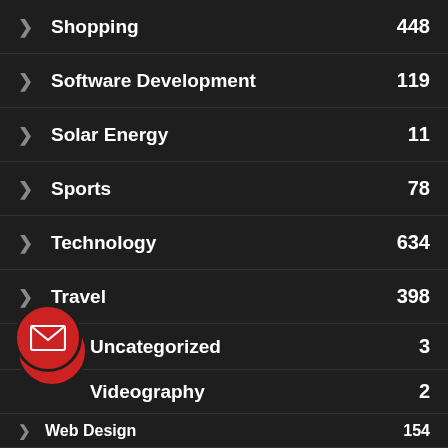Shopping 448
Software Development 119
Solar Energy 11
Sports 78
Technology 634
Travel 398
Uncategorized 3
Videography 2
Web Design 154
Web Development 159
ARCHIVES
August 2022